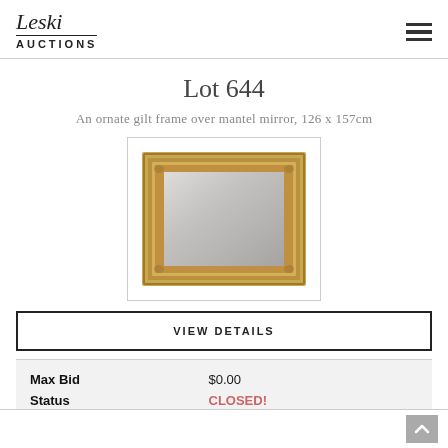Leski AUCTIONS
Lot 644
An ornate gilt frame over mantel mirror, 126 x 157cm
[Figure (photo): Photo of an ornate gilt frame over mantel mirror with gold decorative border and rectangular mirror glass inside, displayed against a white background.]
VIEW DETAILS
|  |  |
| --- | --- |
| Max Bid | $0.00 |
| Status | CLOSED! |